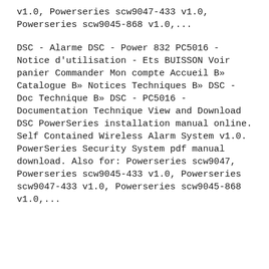v1.0, Powerseries scw9047-433 v1.0, Powerseries scw9045-868 v1.0,...
DSC - Alarme DSC - Power 832 PC5016 - Notice d'utilisation - Ets BUISSON Voir panier Commander Mon compte Accueil B» Catalogue B» Notices Techniques B» DSC - Doc Technique B» DSC - PC5016 - Documentation Technique View and Download DSC PowerSeries installation manual online. Self Contained Wireless Alarm System v1.0. PowerSeries Security System pdf manual download. Also for: Powerseries scw9047, Powerseries scw9045-433 v1.0, Powerseries scw9047-433 v1.0, Powerseries scw9045-868 v1.0,...